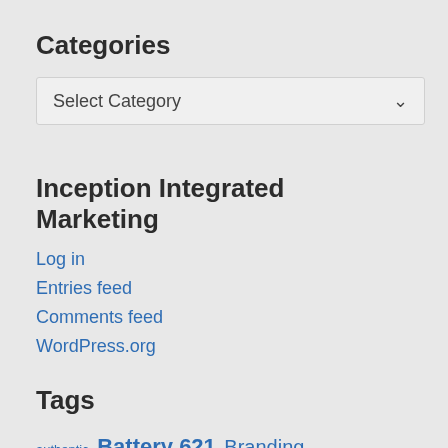Categories
[Figure (screenshot): Dropdown select box showing 'Select Category' with a chevron arrow on the right]
Inception Integrated Marketing
Log in
Entries feed
Comments feed
WordPress.org
Tags
authentic  Battery 621  Branding  Business